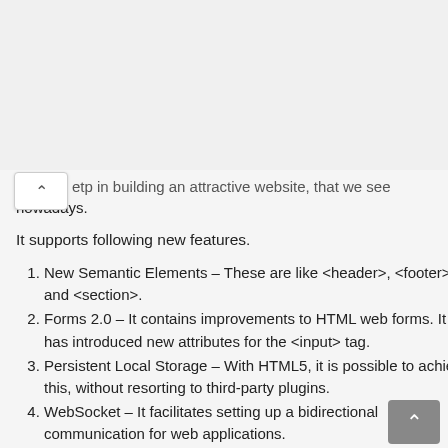elp in building an attractive website, that we see nowadays.
It supports following new features.
New Semantic Elements – These are like <header>, <footer>, and <section>.
Forms 2.0 – It contains improvements to HTML web forms. It has introduced new attributes for the <input> tag.
Persistent Local Storage – With HTML5, it is possible to achieve this, without resorting to third-party plugins.
WebSocket – It facilitates setting up a bidirectional communication for web applications.
Server-Sent Events(SSE) – These events got introduced in